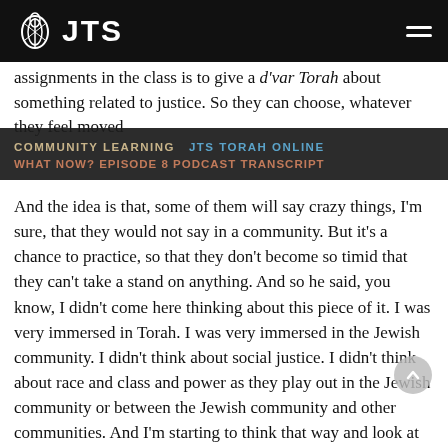JTS
assignments in the class is to give a d'var Torah about something related to justice. So they can choose, whatever they feel moved
COMMUNITY LEARNING   JTS TORAH ONLINE
WHAT NOW? EPISODE 8 PODCAST TRANSCRIPT
And the idea is that, some of them will say crazy things, I'm sure, that they would not say in a community. But it's a chance to practice, so that they don't become so timid that they can't take a stand on anything. And so he said, you know, I didn't come here thinking about this piece of it. I was very immersed in Torah. I was very immersed in the Jewish community. I didn't think about social justice. I didn't think about race and class and power as they play out in the Jewish community or between the Jewish community and other communities. And I'm starting to think that way and look at the congregation where I'm serving now as an intern.